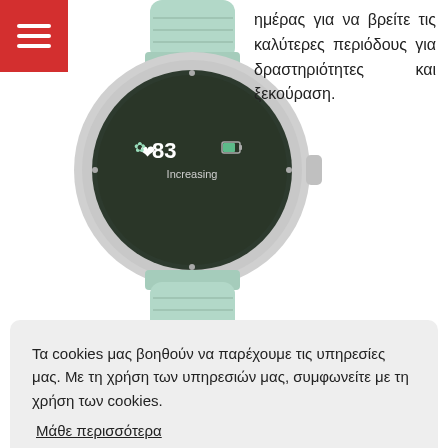[Figure (screenshot): Red hamburger menu button in top left corner with three white horizontal lines]
[Figure (photo): Garmin smartwatch with mint/sage green band showing heart rate 83 and 'Increasing' on display, photographed from front]
ημέρας για να βρείτε τις καλύτερες περιόδους για δραστηριότητες και ξεκούραση.
Τα cookies μας βοηθούν να παρέχουμε τις υπηρεσίες μας. Με τη χρήση των υπηρεσιών μας, συμφωνείτε με τη χρήση των cookies.
Μάθε περισσότερα
Καταλαβαίνω
ΚΑ
ΤΟΝ και ΠΩ